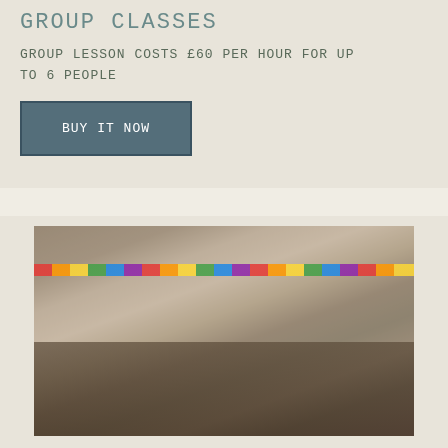GROUP CLASSES
GROUP LESSON COSTS £60 PER HOUR FOR UP TO 6 PEOPLE
BUY IT NOW
[Figure (photo): Interior of a music studio with colorful paper garland banner strung across the ceiling, walls decorated with framed artwork and paintings, a piano visible in the foreground, microphone stands, and various musical equipment throughout the room.]